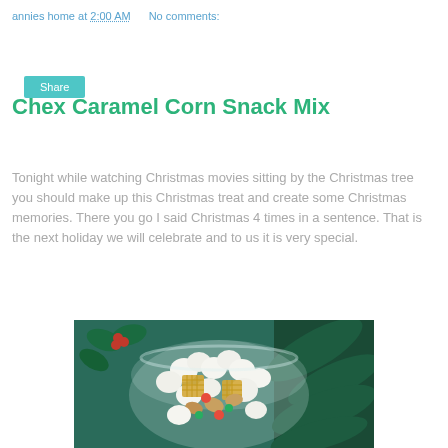annies home at 2:00 AM   No comments:
Share
Chex Caramel Corn Snack Mix
Tonight while watching Christmas movies sitting by the Christmas tree you should make up this Christmas treat and create some Christmas memories. There you go I said Christmas 4 times in a sentence. That is the next holiday we will celebrate and to us it is very special.
[Figure (photo): Bowl of Chex caramel corn snack mix with popcorn, Chex cereal, nuts, and colorful candies on a Christmas-themed background with holly and pine branches.]